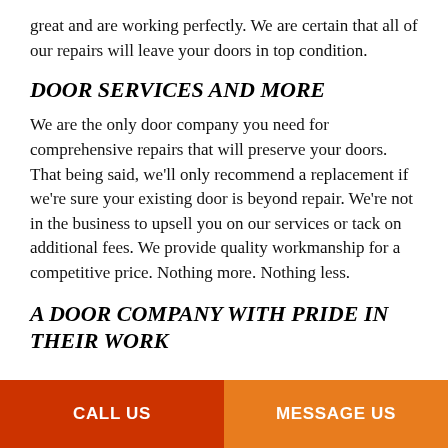great and are working perfectly. We are certain that all of our repairs will leave your doors in top condition.
DOOR SERVICES AND MORE
We are the only door company you need for comprehensive repairs that will preserve your doors. That being said, we'll only recommend a replacement if we're sure your existing door is beyond repair. We're not in the business to upsell you on our services or tack on additional fees. We provide quality workmanship for a competitive price. Nothing more. Nothing less.
A DOOR COMPANY WITH PRIDE IN THEIR WORK
CALL US
MESSAGE US